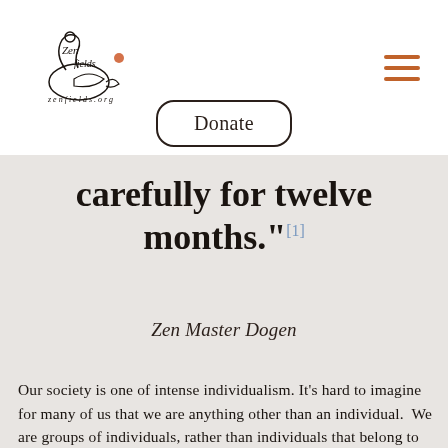[Figure (logo): Zen Fields logo with hand-drawn swan/bird and cursive text]
Donate
carefully for twelve months."[1]
Zen Master Dogen
Our society is one of intense individualism. It’s hard to imagine for many of us that we are anything other than an individual. We are groups of individuals, rather than individuals that belong to groups. The group is secondary to the individual. The individual is primary.